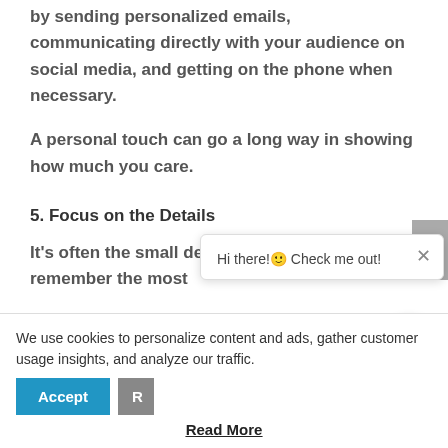by sending personalized emails, communicating directly with your audience on social media, and getting on the phone when necessary.
A personal touch can go a long way in showing how much you care.
5. Focus on the Details
It's often the small details that customers remember the most
Hi there!🙂 Check me out!
We use cookies to personalize content and ads, gather customer usage insights, and analyze our traffic.
Read More